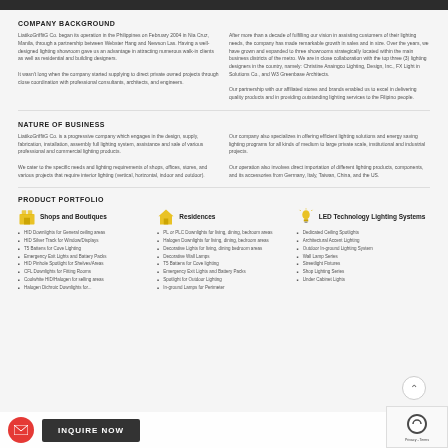COMPANY BACKGROUND
LiatikoGriffitG Co. began its operation in the Philippines on February 2004 in Nia Cruz, Manila, through a partnership between Webster Hang and Newson Las. Having a well-designed lighting showroom gave us an advantage in attracting numerous walk-in clients as well as residential and building designers.

It wasn't long when the company started supplying to direct private owned projects through close coordination with professional consultants, architects, and engineers.
After more than a decade of fulfilling our vision in assisting customers of their lighting needs, the company has made remarkable growth in sales and in size. Over the years, we have grown and expanded to three showrooms strategically located within the main business districts of the metro. We are in close collaboration with the top three (3) lighting designers in the country, namely: Christine Anaingco Lighting, Design, Inc., FX Light in Solutions Co., and W3 Greenbase Architects.

Our partnership with our affiliated stores and brands enabled us to excel in delivering quality products and in providing outstanding lighting services to the Filipino people.
NATURE OF BUSINESS
LiatikoGriffitG Co. is a progressive company which engages in the design, supply, fabrication, installation, assembly full lighting system, assistance and sale of various professional and commercial lighting products.

We cater to the specific needs and lighting requirements of shops, offices, stores, and various projects that require interior lighting (vertical, horizontal, indoor and outdoor).
Our company also specializes in offering efficient lighting solutions and energy saving lighting programs for all kinds of medium to large private scale, institutional and industrial projects.

Our operation also involves direct importation of different lighting products, components, and its accessories from Germany, Italy, Taiwan, China, and the US.
PRODUCT PORTFOLIO
Shops and Boutiques
HID Downlights for General Ceiling Areas
HID Silver Track for Window/Displays
T5 Battens for Cove Lighting
Emergency Exit Lights and Battery Packs
HID Pinhole Spotlight for Shelves/Areas
CFL Downlights for Fitting Rooms
Coolwhite HID/Halogen for selling areas
Halogen Dichroic Downlights for...
Residences
PL or PLC Downlights for living, dining, bedroom areas
Halogen Downlights for living, dining, bedroom areas
Decorative Lights for living, dining bedroom areas
Decorative Wall Lamps
T5 Battens for Cove lighting
Emergency Exit Lights and Battery Packs
Spotlight for Outdoor Lighting
In-ground Lamps for Perimeter
LED Technology Lighting Systems
Dedicated Ceiling Spotlights
Architectural Accent Lighting
Outdoor In-ground Lighting System
Wall Lamp Series
Streetlight Fixtures
Shop Lighting Series
Under Cabinet Lights
INQUIRE NOW